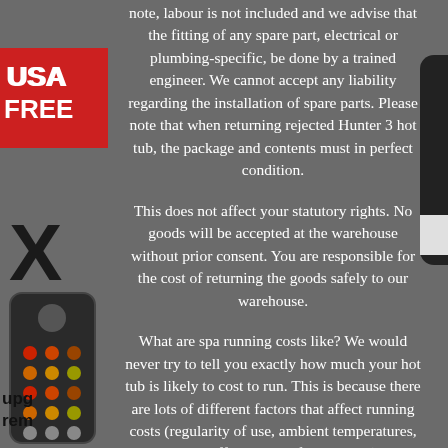[Figure (photo): USA badge/sticker in red on left side, partial view]
note, labour is not included and we advise that the fitting of any spare part, electrical or plumbing-specific, be done by a trained engineer. We cannot accept any liability regarding the installation of spare parts. Please note that when returning rejected Hunter 3 hot tub, the package and contents must in perfect condition.
This does not affect your statutory rights. No goods will be accepted at the warehouse without prior consent. You are responsible for the cost of returning the goods safely to our warehouse.
What are spa running costs like? We would never try to tell you exactly how much your hot tub is likely to cost to run. This is because there are lots of different factors that affect running costs (regularity of use, ambient temperatures, electrical tariff, location of the hot tub). You may see claims from some companies of â??
But this is likely being calculated purely on just
[Figure (photo): Remote control device shown on lower left corner]